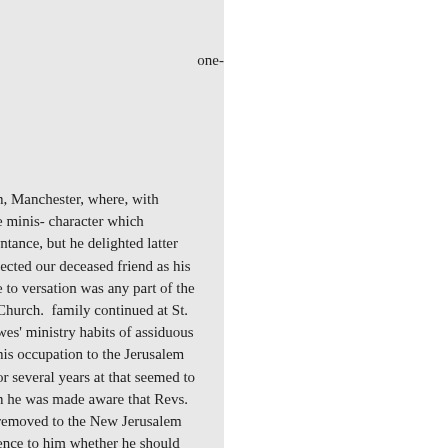one-
h, Manchester, where, with e minis- character which intance, but he delighted latter lected our deceased friend as his e to versation was any part of the Church. family continued at St. wes' ministry habits of assiduous his occupation to the Jerusalem or several years at that seemed to n he was made aware that Revs. removed to the New Jerusalem ence to him whether he should o remain in was for several ew Church Printing So- useful tly awaited his dissolution, ut the Church Tract Society a of Conference, and eternity as in g but one following, the Trent attached to the New Church, à